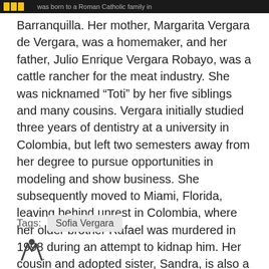Vergara was born to a Roman Catholic family in
Barranquilla. Her mother, Margarita Vergara de Vergara, was a homemaker, and her father, Julio Enrique Vergara Robayo, was a cattle rancher for the meat industry. She was nicknamed “Toti” by her five siblings and many cousins. Vergara initially studied three years of dentistry at a university in Colombia, but left two semesters away from her degree to pursue opportunities in modeling and show business. She subsequently moved to Miami, Florida, leaving behind unrest in Colombia, where her older brother Rafael was murdered in 1998 during an attempt to kidnap him. Her cousin and adopted sister, Sandra, is also a television actress in the United States.
Tags:  Sofia Vergara